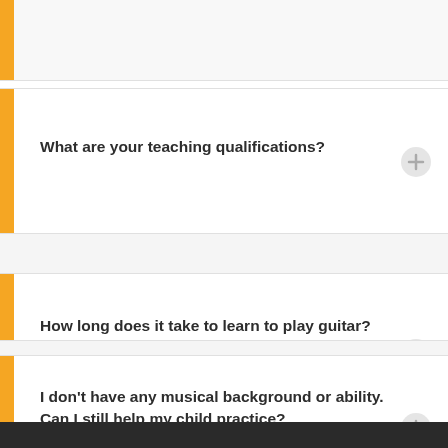What are your teaching qualifications?
How long does it take to learn to play guitar?
I don't have any musical background or ability. Can I still help my child practice?